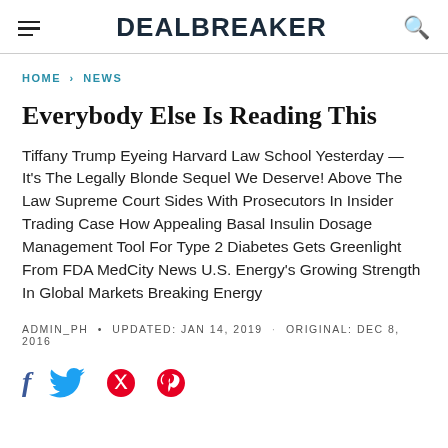DEALBREAKER
HOME › NEWS
Everybody Else Is Reading This
Tiffany Trump Eyeing Harvard Law School Yesterday — It's The Legally Blonde Sequel We Deserve! Above The Law Supreme Court Sides With Prosecutors In Insider Trading Case How Appealing Basal Insulin Dosage Management Tool For Type 2 Diabetes Gets Greenlight From FDA MedCity News U.S. Energy's Growing Strength In Global Markets Breaking Energy
ADMIN_PH • UPDATED: JAN 14, 2019 · ORIGINAL: DEC 8, 2016
[Figure (other): Social share icons: Facebook (f), Twitter (bird), Pinterest (p)]